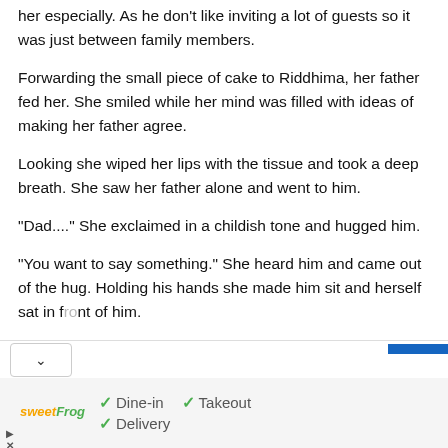Riddhima looked as her dad cut the cake which was made by her especially. As he don't like inviting a lot of guests so it was just between family members.
Forwarding the small piece of cake to Riddhima, her father fed her. She smiled while her mind was filled with ideas of making her father agree.
Looking she wiped her lips with the tissue and took a deep breath. She saw her father alone and went to him.
“Dad....” She exclaimed in a childish tone and hugged him.
“You want to say something.” She heard him and came out of the hug. Holding his hands she made him sit and herself sat in front of him.
[Figure (infographic): Advertisement banner for sweetFrog showing dine-in, takeout, and delivery options with a navigation arrow icon]